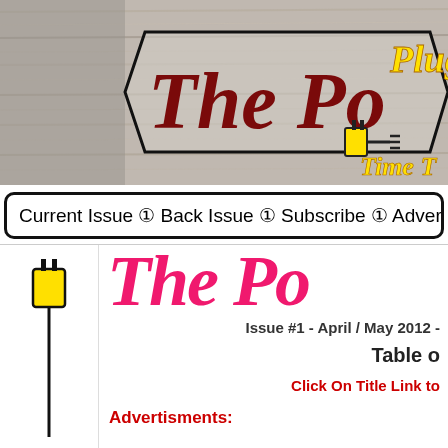[Figure (illustration): Newsletter header banner with wood-grain texture background. Shows partial logo with 'Plug' in yellow italic text, 'The Po' in dark red script inside a rounded hexagonal arrow-shaped border, a yellow electrical plug icon, and 'Time T' in yellow italic text at bottom right.]
Current Issue ⓘ Back Issue ⓘ Subscribe ⓘ Advertis...
[Figure (illustration): Yellow electrical plug icon on left sidebar with vertical line below it]
The Po
Issue #1 - April / May 2012 -
Table o
Click On Title Link to
Advertisments: